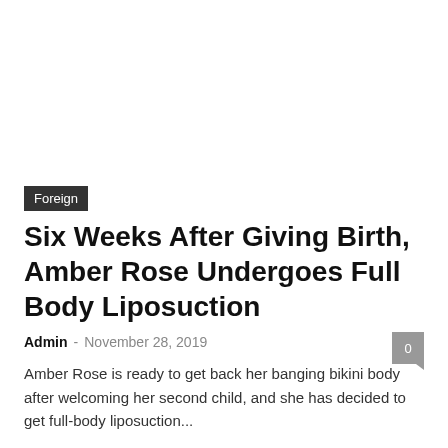[Figure (photo): Empty white image area at top of the article page]
Foreign
Six Weeks After Giving Birth, Amber Rose Undergoes Full Body Liposuction
Admin - November 28, 2019
Amber Rose is ready to get back her banging bikini body after welcoming her second child, and she has decided to get full-body liposuction...